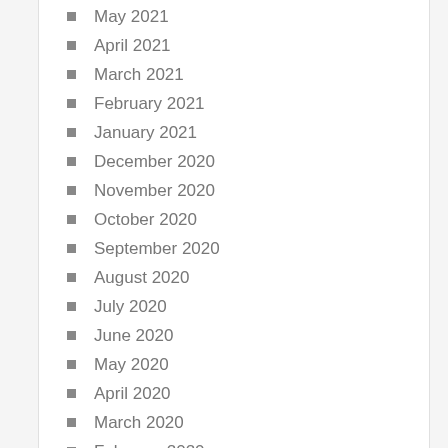May 2021
April 2021
March 2021
February 2021
January 2021
December 2020
November 2020
October 2020
September 2020
August 2020
July 2020
June 2020
May 2020
April 2020
March 2020
February 2020